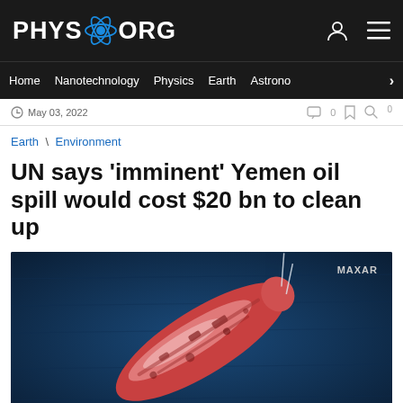PHYS.ORG
Home | Nanotechnology | Physics | Earth | Astronomy
May 03, 2022
Earth \ Environment
UN says 'imminent' Yemen oil spill would cost $20 bn to clean up
[Figure (photo): Satellite image (MAXAR) of a large oil tanker ship viewed from above against a dark blue ocean background. The ship appears reddish-pink in color, photographed at an angle.]